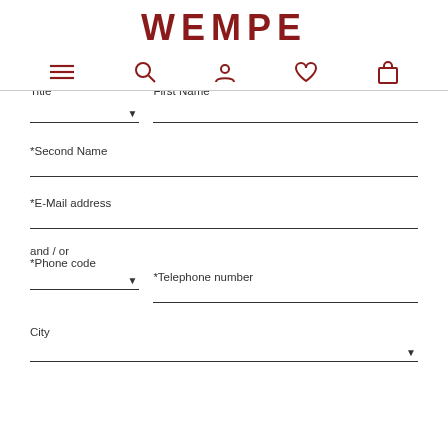WEMPE
Title | First Name
*Second Name
*E-Mail address
and / or
*Phone code | *Telephone number
City